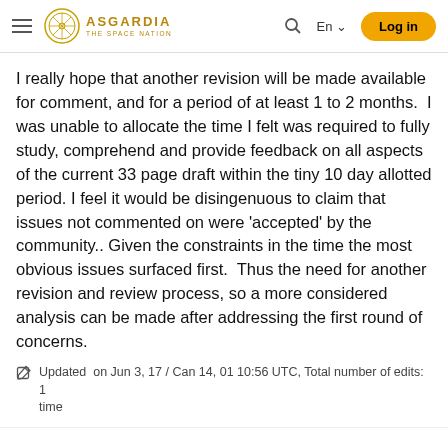ASGARDIA THE SPACE NATION | Log in
I really hope that another revision will be made available for comment, and for a period of at least 1 to 2 months.  I was unable to allocate the time I felt was required to fully study, comprehend and provide feedback on all aspects of the current 33 page draft within the tiny 10 day allotted period. I feel it would be disingenuous to claim that issues not commented on were 'accepted' by the community.. Given the constraints in the time the most obvious issues surfaced first.  Thus the need for another revision and review process, so a more considered analysis can be made after addressing the first round of concerns.
Updated on Jun 3, 17 / Can 14, 01 10:56 UTC, Total number of edits: 1 time
Asgardian 23596